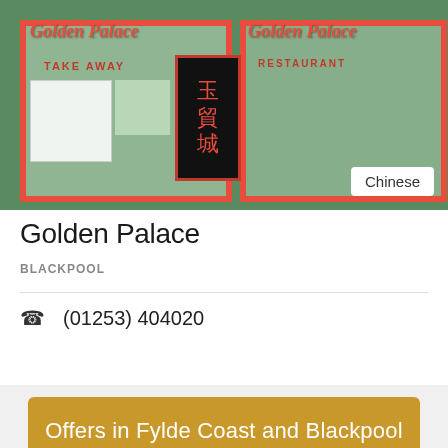[Figure (photo): Exterior photo of Golden Palace Chinese restaurant and takeaway showing storefront with red signage, Chinese characters sign board, and window displays]
Golden Palace
BLACKPOOL
(01253) 404020
Offers in Fylde Coast and Blackpool
[Figure (photo): Close-up photo of a pizza with tomato sauce and toppings]